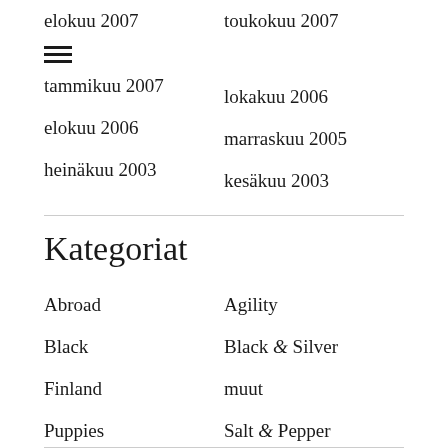elokuu 2007
toukokuu 2007
tammikuu 2007
lokakuu 2006
elokuu 2006
marraskuu 2005
heinäkuu 2003
kesäkuu 2003
Kategoriat
Abroad
Agility
Black
Black & Silver
Finland
muut
Puppies
Salt & Pepper
Shows